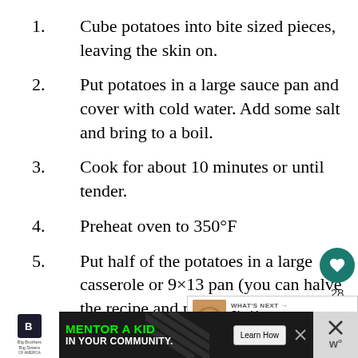Cube potatoes into bite sized pieces, leaving the skin on.
Put potatoes in a large sauce pan and cover with cold water. Add some salt and bring to a boil.
Cook for about 10 minutes or until tender.
Preheat oven to 350°F
Put half of the potatoes in a large casserole or 9×13 pan (you can halve the recipe and make it in an 8-9-inch pan or two quart casserole). Spread with half the cheese. Repeat with
[Figure (screenshot): Social media sidebar with heart/like button showing 28 likes and share button]
[Figure (screenshot): What's Next overlay showing Cheddar Bacon Ranc... recipe thumbnail]
[Figure (screenshot): Big Brothers Big Sisters advertisement banner: MENTOR A KID IN YOUR COMMUNITY with Learn How button]